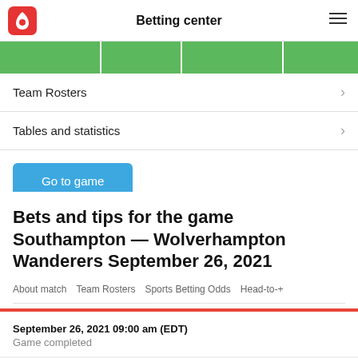Betting center
[Figure (other): Green segmented bar graphic]
Team Rosters
Tables and statistics
Go to game
Bets and tips for the game Southampton — Wolverhampton Wanderers September 26, 2021
About match  Team Rosters  Sports Betting Odds  Head-to-+
September 26, 2021 09:00 am (EDT)
Game completed